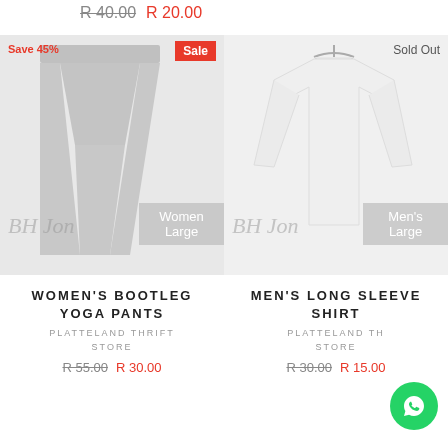R 40.00  R 20.00
[Figure (photo): Women's bootleg yoga pants product photo, grey pants on light background, with 'Save 45%' badge, 'Sale' badge, 'Women Large' size label, BH Jon watermark]
[Figure (photo): Men's long sleeve shirt product photo, white shirt on hanger, with 'Sold Out' label, 'Men's Large' size label, BH Jon watermark]
WOMEN'S BOOTLEG YOGA PANTS
MEN'S LONG SLEEVE SHIRT
PLATTELAND THRIFT STORE
PLATTELAND THRIFT STORE
R 55.00  R 30.00
R 30.00  R 15.00